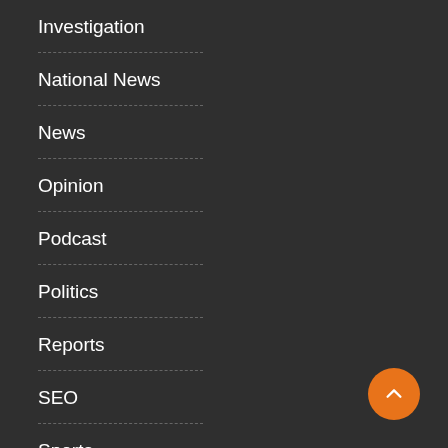Investigation
National News
News
Opinion
Podcast
Politics
Reports
SEO
Sports
Tech
Uncategorized